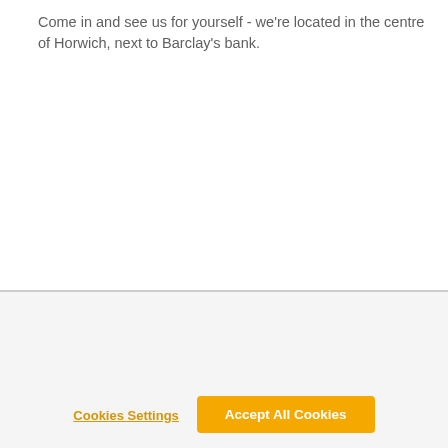Come in and see us for yourself - we're located in the centre of Horwich, next to Barclay's bank.
By clicking “Accept All Cookies”, you agree to the storing of cookies on your device to enhance site navigation, analyze site usage, and assist in our marketing efforts.
Cookies Settings
Accept All Cookies